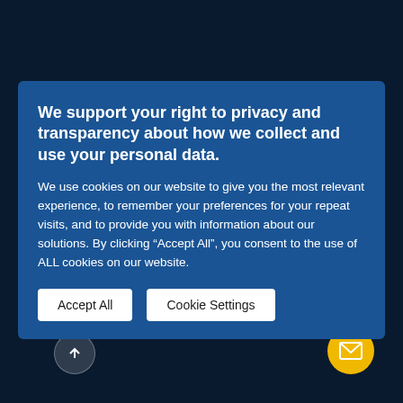[Figure (screenshot): Dark navy blue website background with GRC Titan Brands Logistics Services branding and overlay text 'Financial Officer Titan Brands', arrow up button and mail button]
We support your right to privacy and transparency about how we collect and use your personal data.
We use cookies on our website to give you the most relevant experience, to remember your preferences for your repeat visits, and to provide you with information about our solutions. By clicking “Accept All”, you consent to the use of ALL cookies on our website.